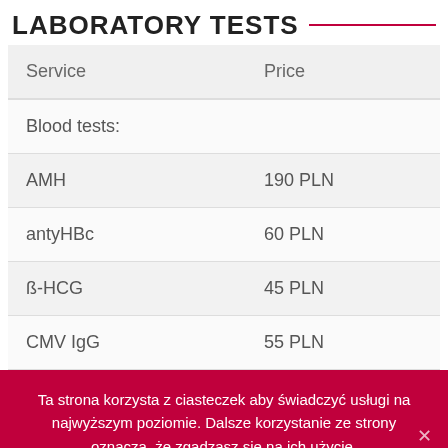LABORATORY TESTS
| Service | Price |
| --- | --- |
| Blood tests: |  |
| AMH | 190 PLN |
| antyHBc | 60 PLN |
| ß-HCG | 45 PLN |
| CMV IgG | 55 PLN |
Ta strona korzysta z ciasteczek aby świadczyć usługi na najwyższym poziomie. Dalsze korzystanie ze strony oznacza, że zgadzasz się na ich użycie.
Zgoda   Nie wyrażam zgody